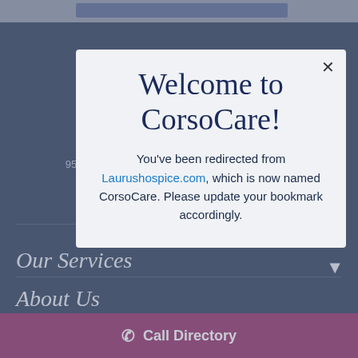[Figure (screenshot): Background of a dark navy CorsoCare hospice website showing partially visible navigation elements including address, Areas Served, Our Services, and About Us sections, with a crimson Call Directory bar at the bottom.]
Welcome to CorsoCare!
You've been redirected from Laurushospice.com, which is now named CorsoCare. Please update your bookmark accordingly.
Call Directory